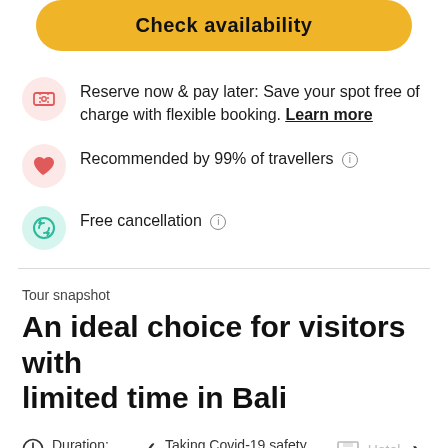[Figure (screenshot): Yellow 'Check availability' button (top, partially visible)]
Reserve now & pay later: Save your spot free of charge with flexible booking. Learn more
Recommended by 99% of travellers ℹ
Free cancellation ℹ
Tour snapshot
An ideal choice for visitors with limited time in Bali
Duration: 10h
Taking Covid-19 safety measures Learn more
Hotel